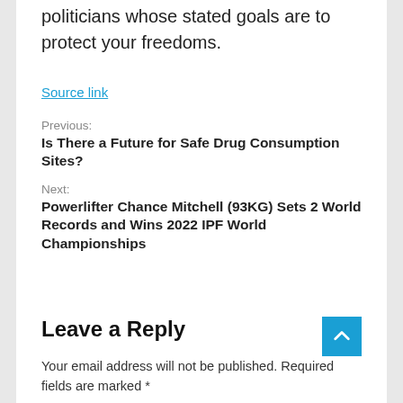politicians whose stated goals are to protect your freedoms.
Source link
Previous:
Is There a Future for Safe Drug Consumption Sites?
Next:
Powerlifter Chance Mitchell (93KG) Sets 2 World Records and Wins 2022 IPF World Championships
Leave a Reply
Your email address will not be published. Required fields are marked *